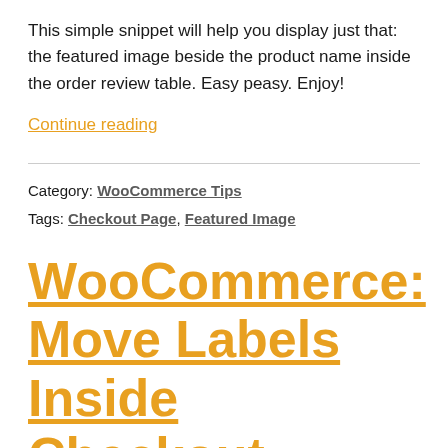This simple snippet will help you display just that: the featured image beside the product name inside the order review table. Easy peasy. Enjoy!
Continue reading
Category: WooCommerce Tips
Tags: Checkout Page, Featured Image
WooCommerce: Move Labels Inside Checkout Fields